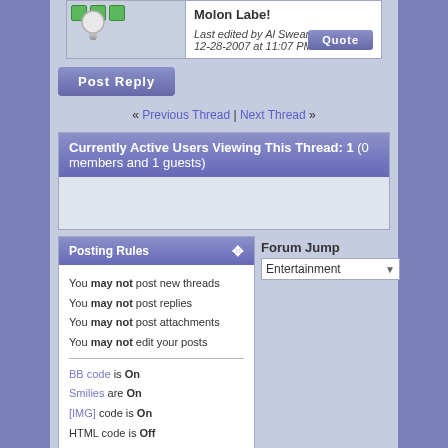Molon Labe!
Last edited by Al Swearengen; 12-28-2007 at 11:07 PM.
[Figure (other): Quote button]
[Figure (other): Post Reply button]
« Previous Thread | Next Thread »
Currently Active Users Viewing This Thread: 1 (0 members and 1 guests)
Posting Rules
You may not post new threads
You may not post replies
You may not post attachments
You may not edit your posts
BB code is On
Smilies are On
[IMG] code is On
HTML code is Off
Forum Jump
Entertainment
All times are GMT -5. The time now is 06:45 PM.